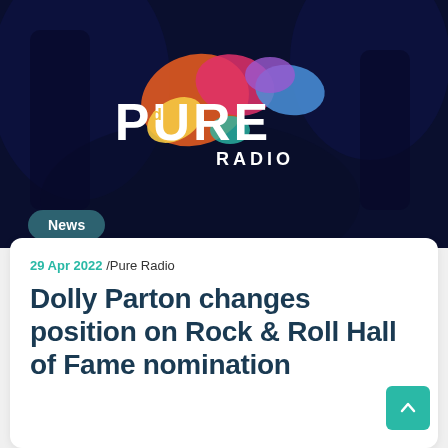[Figure (logo): Pure Radio logo on dark blue background with colorful paint splash effect. Text reads 'PURE RADIO' in bold white letters with colorful splatter decoration.]
News
29 Apr 2022 /Pure Radio
Dolly Parton changes position on Rock & Roll Hall of Fame nomination